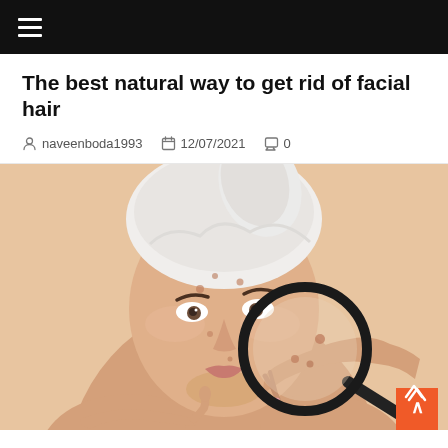≡ (navigation hamburger menu)
The best natural way to get rid of facial hair
naveenboda1993   12/07/2021   0
[Figure (photo): Young woman with white towel wrapped around her head, touching her face and holding a magnifying glass up to her cheek showing skin blemishes, against a peach/beige background]